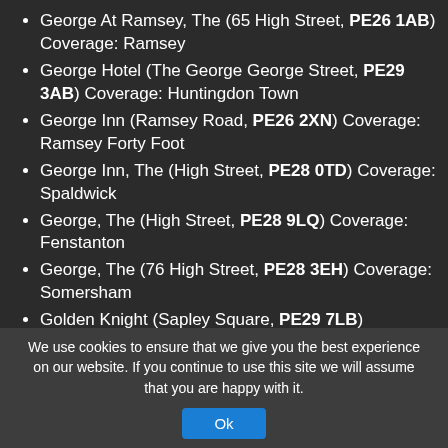George At Ramsey, The (65 High Street, PE26 1AB) Coverage: Ramsey
George Hotel (The George George Street, PE29 3AB) Coverage: Huntingdon Town
George Inn (Ramsey Road, PE26 2XN) Coverage: Ramsey Forty Foot
George Inn, The (High Street, PE28 0TD) Coverage: Spaldwick
George, The (High Street, PE28 9LQ) Coverage: Fenstanton
George, The (76 High Street, PE28 3EH) Coverage: Somersham
Golden Knight (Sapley Square, PE29 7LB) Coverage: Huntingdon Town, Sapley
Grange, The (115 High Street, PE28 4RA) Coverage: Brampton
Green Man, The (East Street, PE28 3LZ) Coverage: Colne
Green Man, The (The Avenue, PE29 5AW) Coverage: Leighton [partial]
We use cookies to ensure that we give you the best experience on our website. If you continue to use this site we will assume that you are happy with it.